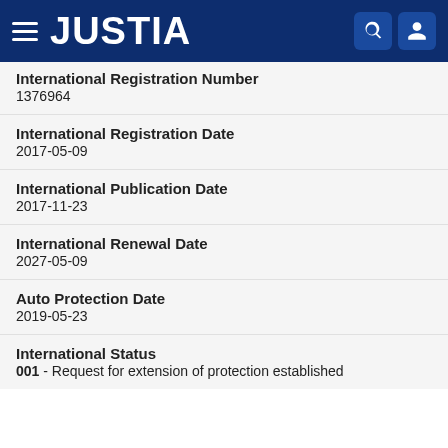JUSTIA
International Registration Number
1376964
International Registration Date
2017-05-09
International Publication Date
2017-11-23
International Renewal Date
2027-05-09
Auto Protection Date
2019-05-23
International Status
001 - Request for extension of protection established